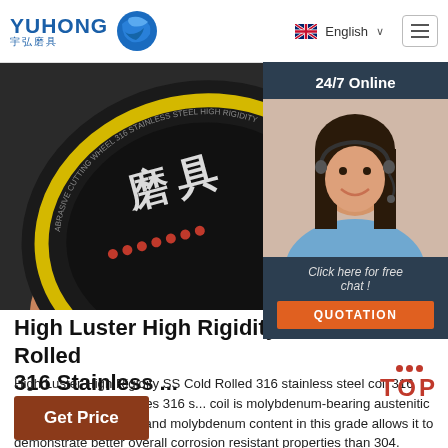YUHONG 宇弘磨具 | English | Menu
[Figure (photo): Close-up photo of a person holding a black and yellow grinding/cutting disc (abrasive wheel) with Chinese characters and dot patterns on it. Dark background.]
[Figure (photo): 24/7 Online customer service sidebar showing a smiling woman with a headset, with 'Click here for free chat!' text and an orange QUOTATION button.]
High Luster High Rigidity SS Cold Rolled 316 Stainless ...
High Luster High Rigidity SS Cold Rolled 316 stainless steel coil 316 stainless steel properties 316 s... coil is molybdenum-bearing austenitic stainle... higher nickel and molybdenum content in this grade allows it to demonstrate better overall corrosion resistant properties than 304. Features More resistance than 304. Usually regarded as the 'marine [...]
[Figure (logo): TOP badge with red dots and red bold TOP text]
Get Price